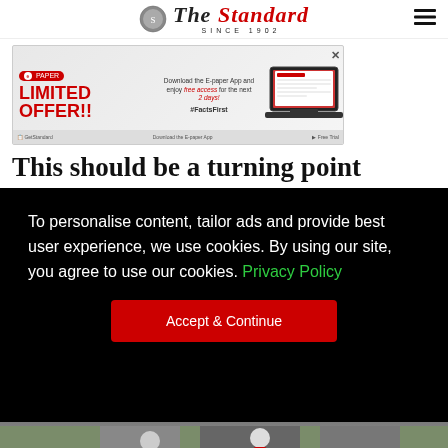The Standard — Since 1902
[Figure (other): Advertisement banner for The Standard E-paper app. Text reads: LIMITED OFFER!! Download the E-paper App and enjoy free access for the next 2 days! #FactsFirst. Shows laptop with the newspaper website.]
This should be a turning point
To personalise content, tailor ads and provide best user experience, we use cookies. By using our site, you agree to use our cookies. Privacy Policy
Accept & Continue
[Figure (photo): Bottom strip showing partial view of a sports photo (football players)]